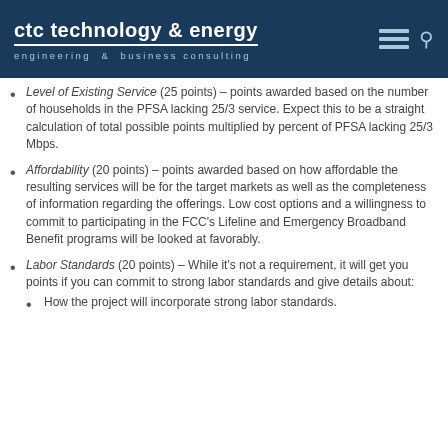ctc technology & energy — engineering & business consulting
Level of Existing Service (25 points) – points awarded based on the number of households in the PFSA lacking 25/3 service. Expect this to be a straight calculation of total possible points multiplied by percent of PFSA lacking 25/3 Mbps.
Affordability (20 points) – points awarded based on how affordable the resulting services will be for the target markets as well as the completeness of information regarding the offerings. Low cost options and a willingness to commit to participating in the FCC's Lifeline and Emergency Broadband Benefit programs will be looked at favorably.
Labor Standards (20 points) – While it's not a requirement, it will get you points if you can commit to strong labor standards and give details about:
How the project will incorporate strong labor standards.